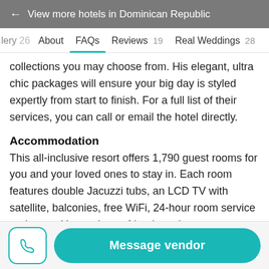← View more hotels in Dominican Republic
lery 26   About   FAQs   Reviews 19   Real Weddings 28
collections you may choose from. His elegant, ultra chic packages will ensure your big day is styled expertly from start to finish. For a full list of their services, you can call or email the hotel directly.
Accommodation
This all-inclusive resort offers 1,790 guest rooms for you and your loved ones to stay in. Each room features double Jacuzzi tubs, an LCD TV with satellite, balconies, free WiFi, 24-hour room service and more. You and your friends and